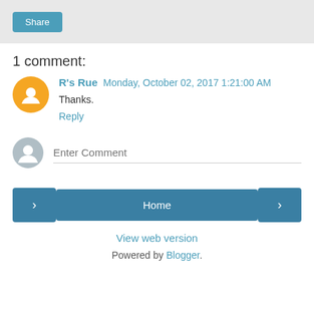Share
1 comment:
R's Rue  Monday, October 02, 2017 1:21:00 AM
Thanks.
Reply
Enter Comment
< Home > View web version Powered by Blogger.